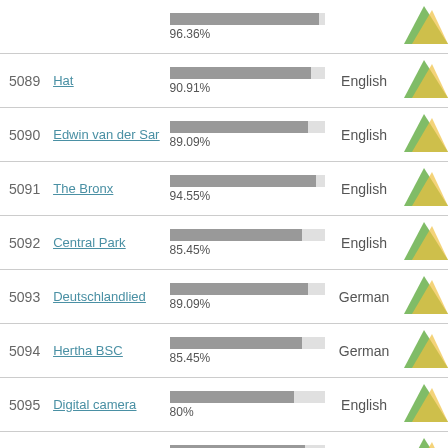| ID | Name | Score | Language | Icon |
| --- | --- | --- | --- | --- |
|  |  | 96.36% |  |  |
| 5089 | Hat | 90.91% | English |  |
| 5090 | Edwin van der Sar | 89.09% | English |  |
| 5091 | The Bronx | 94.55% | English |  |
| 5092 | Central Park | 85.45% | English |  |
| 5093 | Deutschlandlied | 89.09% | German |  |
| 5094 | Hertha BSC | 85.45% | German |  |
| 5095 | Digital camera | 80% | English |  |
| 5096 | Minotaur | 87.27% | English |  |